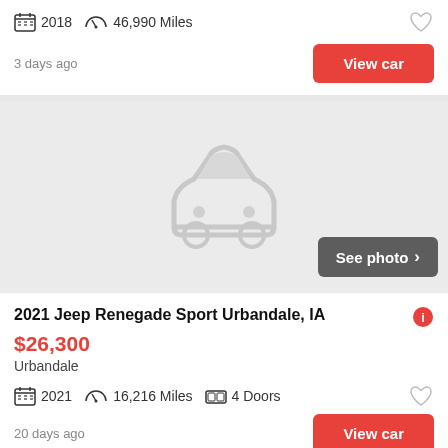2018  46,990 Miles
3 days ago
View car
[Figure (illustration): Car silhouette placeholder image (grey background with grey car icon)]
See photo >
2021 Jeep Renegade Sport Urbandale, IA
$26,300
Urbandale
2021  16,216 Miles  4 Doors
20 days ago
View car